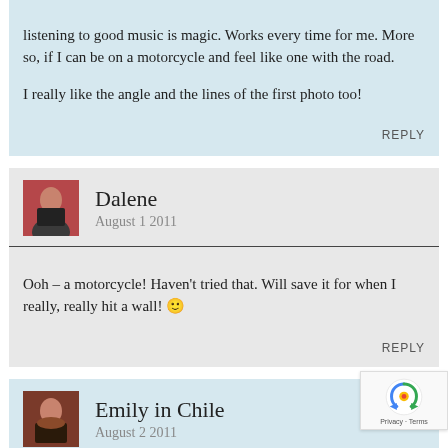listening to good music is magic. Works every time for me. More so, if I can be on a motorcycle and feel like one with the road.
I really like the angle and the lines of the first photo too!
REPLY
Dalene
August 1 2011
Ooh – a motorcycle! Haven't tried that. Will save it for when I really, really hit a wall! 🙂
REPLY
Emily in Chile
August 2 2011
I sometimes try vegging out to cure a mood